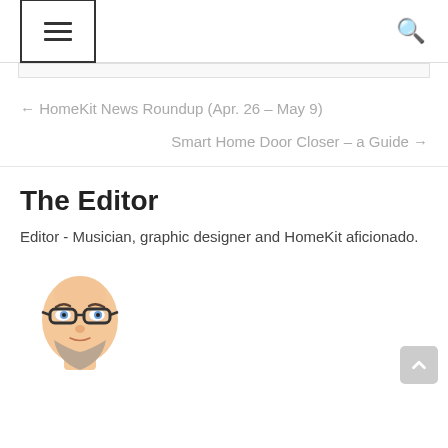☰ navigation menu and search icon
← HomeKit News Roundup (Apr. 26 – May 9)
Smart Home Door Closer – a Guide →
The Editor
Editor - Musician, graphic designer and HomeKit aficionado.
[Figure (illustration): Cartoon avatar of a bald man with glasses and a beard]